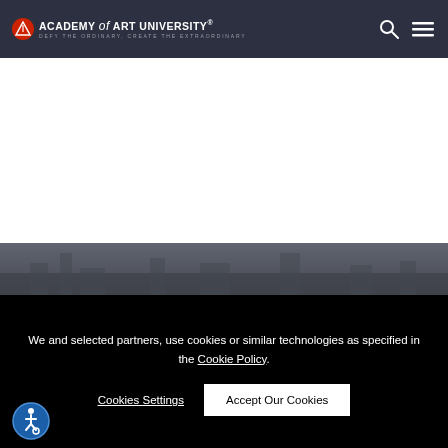ACADEMY of ART UNIVERSITY® — DEFY THE ORDINARY, CREATE THE EXTRAORDINARY
[Figure (screenshot): White content area and dark city background section behind cookie overlay]
We and selected partners, use cookies or similar technologies as specified in the Cookie Policy.
Cookies Settings   Accept Our Cookies
[Figure (logo): Accessibility (wheelchair) icon button, blue circle with white wheelchair symbol]